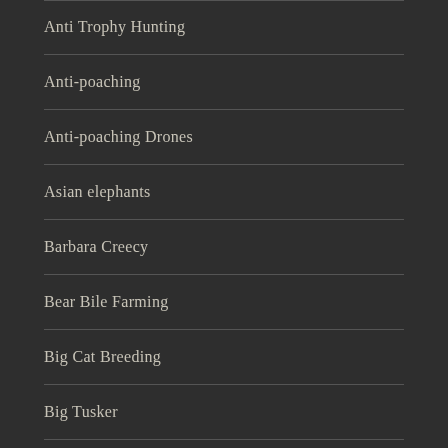Anti Trophy Hunting
Anti-poaching
Anti-poaching Drones
Asian elephants
Barbara Creecy
Bear Bile Farming
Big Cat Breeding
Big Tusker